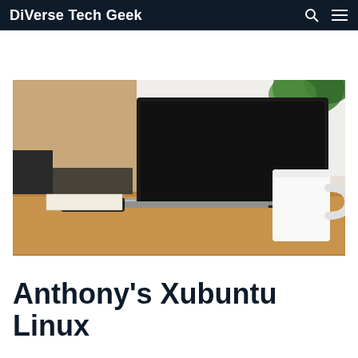DiVerse Tech Geek
[Figure (photo): A laptop with a black screen open on a wooden desk, with a white coffee mug to the right, a smartphone and notepad to the left, a cactus plant in a grey pot in the background, and green plants visible in the upper right corner.]
Anthony's Xubuntu Linux